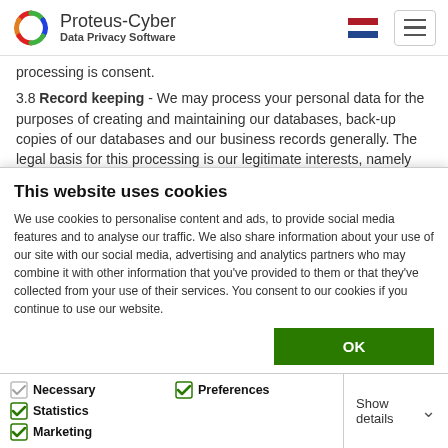Proteus-Cyber Data Privacy Software
processing is consent.
3.8 Record keeping - We may process your personal data for the purposes of creating and maintaining our databases, back-up copies of our databases and our business records generally. The legal basis for this processing is our legitimate interests, namely ensuring that we have access to all the information we need to properly and efficiently run our
This website uses cookies
We use cookies to personalise content and ads, to provide social media features and to analyse our traffic. We also share information about your use of our site with our social media, advertising and analytics partners who may combine it with other information that you've provided to them or that they've collected from your use of their services. You consent to our cookies if you continue to use our website.
OK
Necessary   Preferences   Statistics   Marketing   Show details